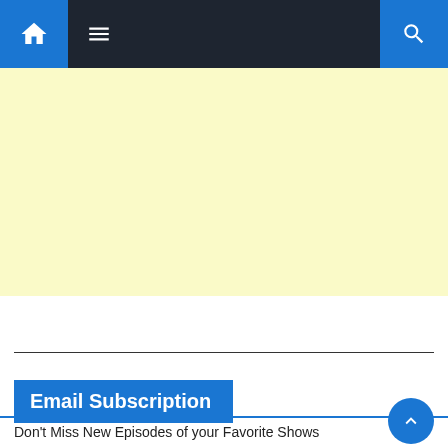[Figure (screenshot): Website navigation bar with home icon on left blue button, hamburger menu icon in dark area, and search icon on right blue button]
[Figure (other): Yellow/cream colored advertisement placeholder area]
Email Subscription
Don't Miss New Episodes of your Favorite Shows